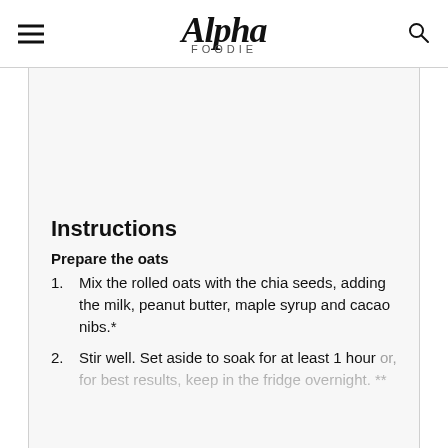Alpha Foodie
Instructions
Prepare the oats
Mix the rolled oats with the chia seeds, adding the milk, peanut butter, maple syrup and cacao nibs.*
Stir well. Set aside to soak for at least 1 hour or, for best results, keep in the fridge overnight. **